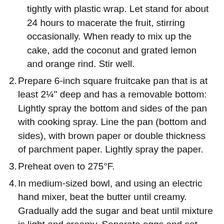(continuation of item 1) tightly with plastic wrap. Let stand for about 24 hours to macerate the fruit, stirring occasionally. When ready to mix up the cake, add the coconut and grated lemon and orange rind. Stir well.
2. Prepare 6-inch square fruitcake pan that is at least 2¼" deep and has a removable bottom: Lightly spray the bottom and sides of the pan with cooking spray. Line the pan (bottom and sides), with brown paper or double thickness of parchment paper. Lightly spray the paper.
3. Preheat oven to 275°F.
4. In medium-sized bowl, and using an electric hand mixer, beat the butter until creamy. Gradually add the sugar and beat until mixture is light and creamy. Separate eggs and set aside the whites. Add the egg yolks to the creamed butter and sugar, one at a time, beating well after each addition and scraping